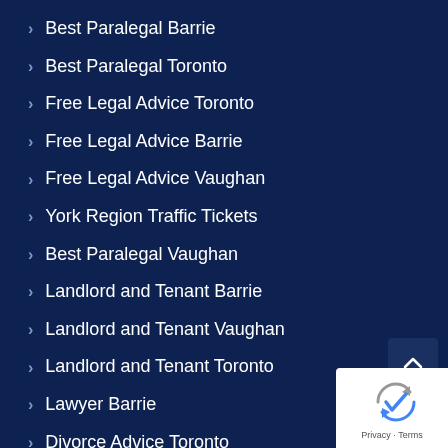Best Paralegal Barrie
Best Paralegal Toronto
Free Legal Advice Toronto
Free Legal Advice Barrie
Free Legal Advice Vaughan
York Region Traffic Tickets
Best Paralegal Vaughan
Landlord and Tenant Barrie
Landlord and Tenant Vaughan
Landlord and Tenant Toronto
Lawyer Barrie
Divorce Advice Toronto
Family Law Vaughan
Parenting Time Mediation Vaughan